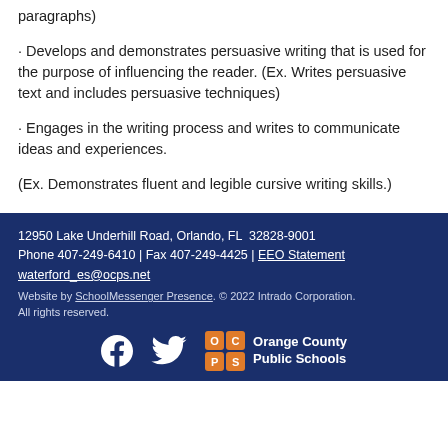paragraphs)
· Develops and demonstrates persuasive writing that is used for the purpose of influencing the reader. (Ex. Writes persuasive text and includes persuasive techniques)
· Engages in the writing process and writes to communicate ideas and experiences.
(Ex. Demonstrates fluent and legible cursive writing skills.)
12950 Lake Underhill Road, Orlando, FL  32828-9001
Phone 407-249-6410 | Fax 407-249-4425 | EEO Statement
waterford_es@ocps.net
Website by SchoolMessenger Presence. © 2022 Intrado Corporation. All rights reserved.